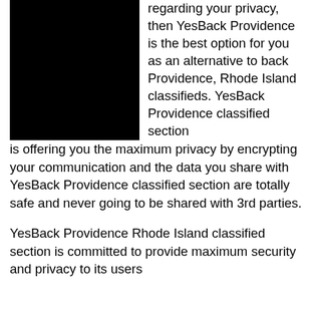[Figure (photo): Large black rectangle image occupying the left portion of the top section]
regarding your privacy, then YesBack Providence is the best option for you as an alternative to back Providence, Rhode Island classifieds. YesBack Providence classified section is offering you the maximum privacy by encrypting your communication and the data you share with YesBack Providence classified section are totally safe and never going to be shared with 3rd parties.
YesBack Providence Rhode Island classified section is committed to provide maximum security and privacy to its users